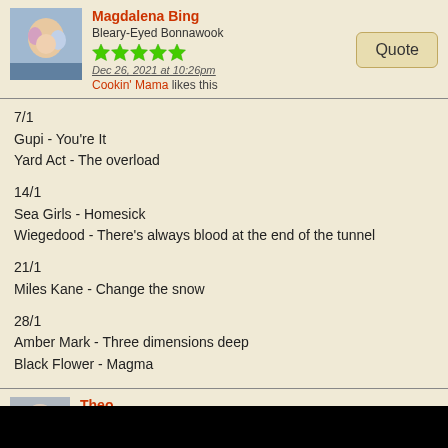Magdalena Bing — Bleary-Eyed Bonnawook — Dec 26, 2021 at 10:26pm — Cookin' Mama likes this
7/1
Gupi - You're It
Yard Act - The overload

14/1
Sea Girls - Homesick
Wiegedood - There's always blood at the end of the tunnel

21/1
Miles Kane - Change the snow

28/1
Amber Mark - Three dimensions deep
Black Flower - Magma
Theo — Bleary-Eyed Bonnawook — Dec 26, 2021 at 11:00pm